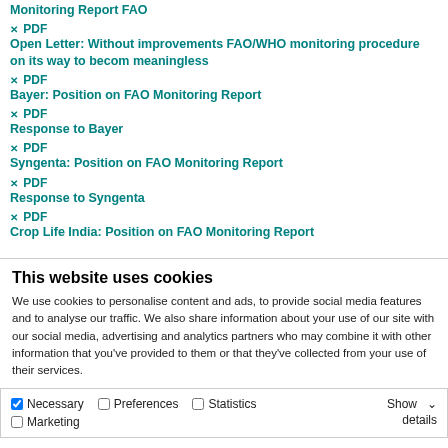Monitoring Report FAO
PDF
Open Letter: Without improvements FAO/WHO monitoring procedure on its way to becom meaningless
PDF
Bayer: Position on FAO Monitoring Report
PDF
Response to Bayer
PDF
Syngenta: Position on FAO Monitoring Report
PDF
Response to Syngenta
PDF
Crop Life India: Position on FAO Monitoring Report
This website uses cookies
We use cookies to personalise content and ads, to provide social media features and to analyse our traffic. We also share information about your use of our site with our social media, advertising and analytics partners who may combine it with other information that you've provided to them or that they've collected from your use of their services.
Allow selection | Allow all cookies
Necessary  Preferences  Statistics  Show details  Marketing